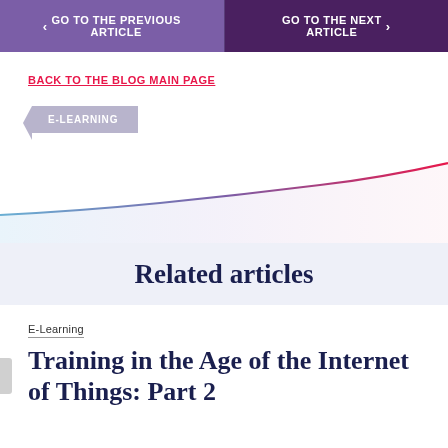GO TO THE PREVIOUS ARTICLE | GO TO THE NEXT ARTICLE
BACK TO THE BLOG MAIN PAGE
E-LEARNING
[Figure (illustration): Decorative wave graphic with a blue-to-pink gradient diagonal line on a white/light blue background]
Related articles
E-Learning
Training in the Age of the Internet of Things: Part 2